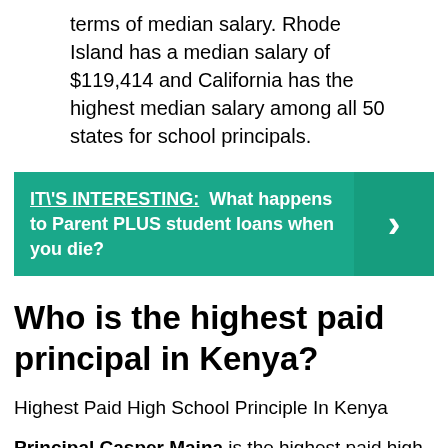terms of median salary. Rhode Island has a median salary of $119,414 and California has the highest median salary among all 50 states for school principals.
[Figure (infographic): Teal/green callout box with white bold text reading 'IT\'S INTERESTING: What happens to Parent PLUS student loans when you die?' and a right-arrow chevron on the right side.]
Who is the highest paid principal in Kenya?
Highest Paid High School Principle In Kenya
Principal Casper Maina is the highest paid high school principal in Kenya. He is the Nairobi School principal who takes home an average of Ksh. 157,656 per month